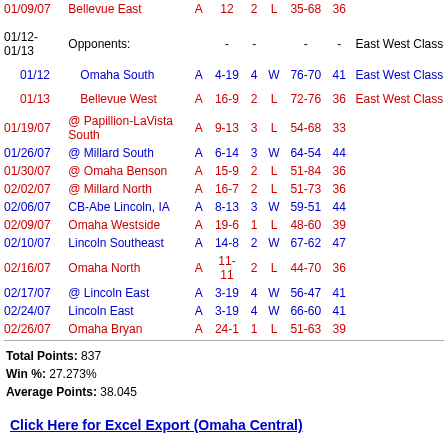| Date | Opponent | H/A | Record | Q | W/L | Score | Pts | Tournament |
| --- | --- | --- | --- | --- | --- | --- | --- | --- |
| 01/09/07 | Bellevue East | A | 12 | 2 | L | 35-68 | 36 |  |
| 01/12-01/13 | Opponents: |  |  | - | - |  | - | East West Class |
| 01/12 | Omaha South | A | 4-19 | 4 | W | 76-70 | 41 | East West Class |
| 01/13 | Bellevue West | A | 16-9 | 2 | L | 72-76 | 36 | East West Class |
| 01/19/07 | @ Papillion-LaVista South | A | 9-13 | 3 | L | 54-68 | 33 |  |
| 01/26/07 | @ Millard South | A | 6-14 | 3 | W | 64-54 | 44 |  |
| 01/30/07 | @ Omaha Benson | A | 15-9 | 2 | L | 51-84 | 36 |  |
| 02/02/07 | @ Millard North | A | 16-7 | 2 | L | 51-73 | 36 |  |
| 02/06/07 | CB-Abe Lincoln, IA | A | 8-13 | 3 | W | 59-51 | 44 |  |
| 02/09/07 | Omaha Westside | A | 19-6 | 1 | L | 48-60 | 39 |  |
| 02/10/07 | Lincoln Southeast | A | 14-8 | 2 | W | 67-62 | 47 |  |
| 02/16/07 | Omaha North | A | 11-11 | 2 | L | 44-70 | 36 |  |
| 02/17/07 | @ Lincoln East | A | 3-19 | 4 | W | 56-47 | 41 |  |
| 02/24/07 | Lincoln East | A | 3-19 | 4 | W | 66-60 | 41 |  |
| 02/26/07 | Omaha Bryan | A | 24-1 | 1 | L | 51-63 | 39 |  |
Total Points: 837
Win %: 27.273%
Average Points: 38.045
Click Here for Excel Export (Omaha Central)